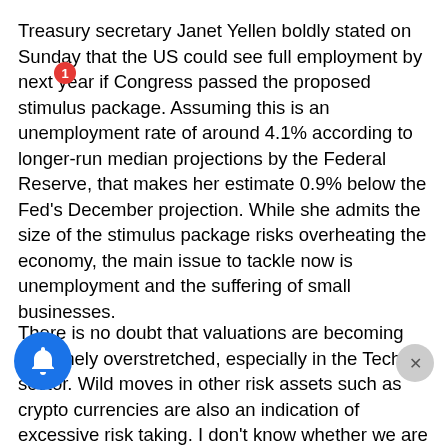Treasury secretary Janet Yellen boldly stated on Sunday that the US could see full employment by next year if Congress passed the proposed stimulus package. Assuming this is an unemployment rate of around 4.1% according to longer-run median projections by the Federal Reserve, that makes her estimate 0.9% below the Fed's December projection. While she admits the size of the stimulus package risks overheating the economy, the main issue to tackle now is unemployment and the suffering of small businesses.
There is no doubt that valuations are becoming extremely overstretched, especially in the Tech sector. Wild moves in other risk assets such as crypto currencies are also an indication of excessive risk taking. I don't know whether we are in a bubble territory yet, but we are certainly close to it. Having said that, I still expect to see further rallies in equities in the near future. The reason is that investors are willing to